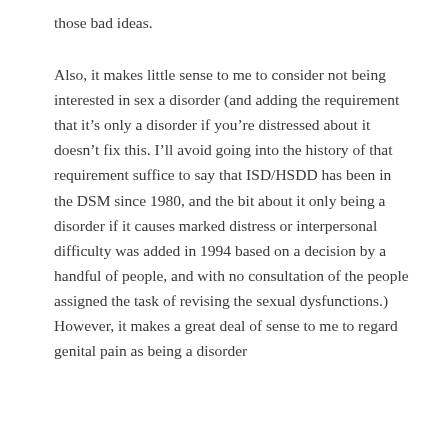those bad ideas.
Also, it makes little sense to me to consider not being interested in sex a disorder (and adding the requirement that it’s only a disorder if you’re distressed about it doesn’t fix this. I’ll avoid going into the history of that requirement suffice to say that ISD/HSDD has been in the DSM since 1980, and the bit about it only being a disorder if it causes marked distress or interpersonal difficulty was added in 1994 based on a decision by a handful of people, and with no consultation of the people assigned the task of revising the sexual dysfunctions.) However, it makes a great deal of sense to me to regard genital pain as being a disorder (although to consider that the absence of desire is the